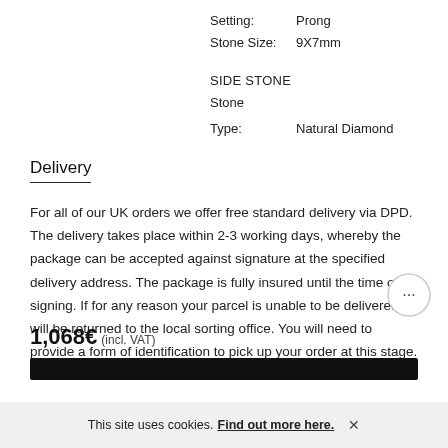Setting: Prong
Stone Size: 9X7mm
SIDE STONE
Stone
Type: Natural Diamond
Delivery
For all of our UK orders we offer free standard delivery via DPD. The delivery takes place within 2-3 working days, whereby the package can be accepted against signature at the specified delivery address. The package is fully insured until the time of signing. If for any reason your parcel is unable to be delivered, it will be returned to the local sorting office. You will need to provide a form of identification to pick up your order at this stage.
1,068€ (incl. VAT)
This site uses cookies. Find out more here.